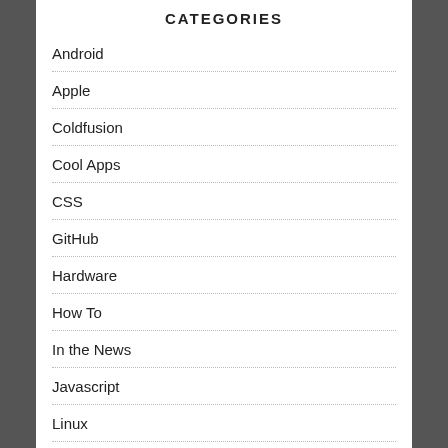CATEGORIES
Android
Apple
Coldfusion
Cool Apps
CSS
GitHub
Hardware
How To
In the News
Javascript
Linux
PHP